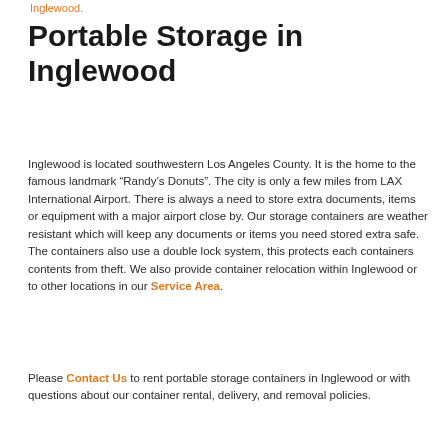Inglewood
Portable Storage in Inglewood
Inglewood is located southwestern Los Angeles County. It is the home to the famous landmark “Randy’s Donuts”. The city is only a few miles from LAX International Airport. There is always a need to store extra documents, items or equipment with a major airport close by. Our storage containers are weather resistant which will keep any documents or items you need stored extra safe. The containers also use a double lock system, this protects each containers contents from theft. We also provide container relocation within Inglewood or to other locations in our Service Area.
Please Contact Us to rent portable storage containers in Inglewood or with questions about our container rental, delivery, and removal policies.